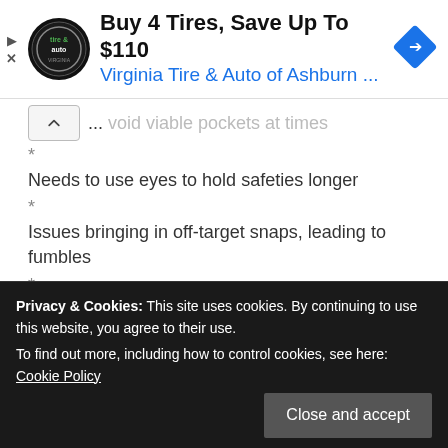[Figure (infographic): Advertisement banner: Virginia Tire & Auto of Ashburn logo, text 'Buy 4 Tires, Save Up To $110' and 'Virginia Tire & Auto of Ashburn ...' with blue arrow diamond icon]
... void viable pockets at times
*
Needs to use eyes to hold safeties longer
*
Issues bringing in off-target snaps, leading to fumbles
*
Slow trigger when processing reads and must learn to throw receivers open vs. throwing to the open receiver.
Privacy & Cookies: This site uses cookies. By continuing to use this website, you agree to their use.
To find out more, including how to control cookies, see here: Cookie Policy
Close and accept